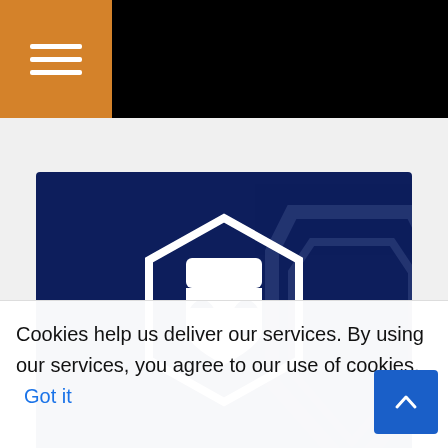[Figure (screenshot): Black navigation bar with orange hamburger menu icon on the left]
[Figure (logo): Crypto.com logo on dark navy blue background with white hexagon shield icon and 'crypto.com' text, blue stripe at bottom, with faint shield watermark on right side]
[Figure (screenshot): Search bar with text input field and blue search button partially visible]
Cookies help us deliver our services. By using our services, you agree to our use of cookies.
Got it